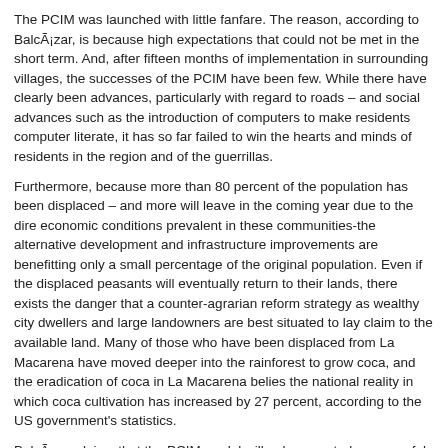The PCIM was launched with little fanfare. The reason, according to BalcÃ¡zar, is because high expectations that could not be met in the short term. And, after fifteen months of implementation in surrounding villages, the successes of the PCIM have been few. While there have clearly been advances, particularly with regard to roads – and social advances such as the introduction of computers to make residents computer literate, it has so far failed to win the hearts and minds of residents in the region and of the guerrillas.
Furthermore, because more than 80 percent of the population has been displaced – and more will leave in the coming year due to the dire economic conditions prevalent in these communities-the alternative development and infrastructure improvements are benefitting only a small percentage of the original population. Even if the displaced peasants will eventually return to their lands, there exists the danger that a counter-agrarian reform strategy as wealthy city dwellers and large landowners are best situated to lay claim to the available land. Many of those who have been displaced from La Macarena have moved deeper into the rainforest to grow coca, and the eradication of coca in La Macarena belies the national reality in which coca cultivation has increased by 27 percent, according to the US government's statistics.
BalcÃ¡zar claims that the PCIM model will only prove truly successful when it has been fully implemented in the 50% of the national territory that still lack a state presence, thereby ensuring that there is nowhere left to run for the FARC. Consequently, the government's objective is to expand the PCIM strategy beyond La Macarena to other regions currently dominated by both the FARC and coca cultivation. According to BalcÃ¡zar, "The FARC's strategy for drug trafficking is the same as bringing down a tall building. You place charges in certain strategic areas and the structure will collapse. The PCIM will be implemented the same way in strategic places of the country to collapse the FARC and eliminate coca cultivation."
Categorised in: Article
This post was written by Garry Leech
Leave a Reply
Your email address will not be published. Required fields are marked *